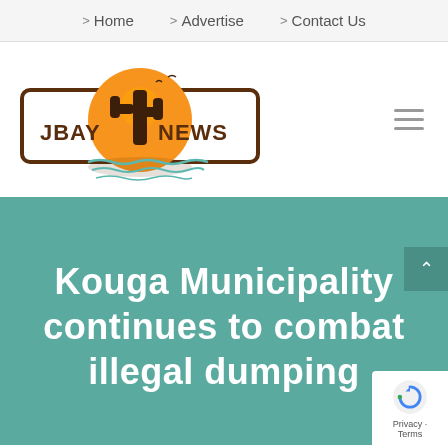> Home   > Advertise   > Contact Us
[Figure (logo): JBay News logo with cactus and sunset graphic, text reads JBAY NEWS]
Kouga Municipality continues to combat illegal dumping